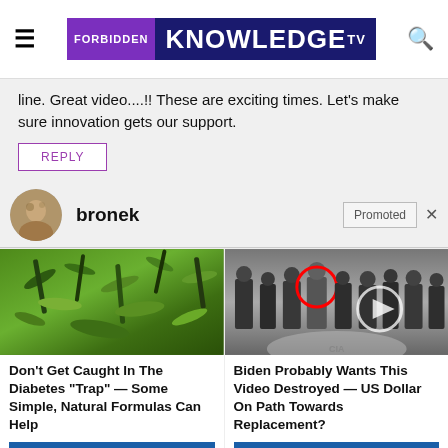Forbidden KnowledgeTV
line. Great video....!! These are exciting times. Let's make sure innovation gets our support.
REPLY
bronek
Promoted
[Figure (photo): Green plant/seed pods close-up photo]
[Figure (photo): Group of people standing in front of CIA logo floor, with red circle highlighting one person and a video play button overlay]
Don't Get Caught In The Diabetes "Trap" — Some Simple, Natural Formulas Can Help
Find Out More
Biden Probably Wants This Video Destroyed — US Dollar On Path Towards Replacement?
Watch The Video